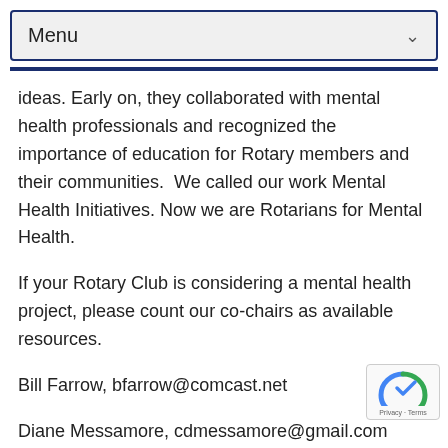Menu
ideas. Early on, they collaborated with mental health professionals and recognized the importance of education for Rotary members and their communities.  We called our work Mental Health Initiatives. Now we are Rotarians for Mental Health.
If your Rotary Club is considering a mental health project, please count our co-chairs as available resources.
Bill Farrow, bfarrow@comcast.net
Diane Messamore, cdmessamore@gmail.com